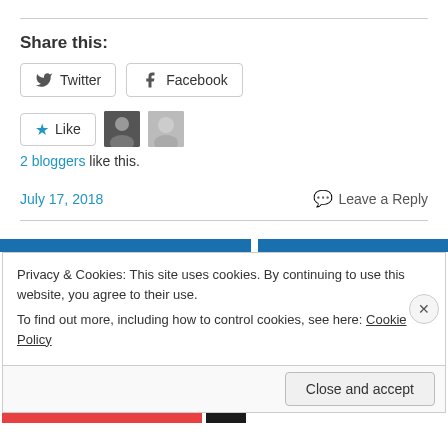Share this:
Twitter  Facebook
Like  2 bloggers like this.
July 17, 2018   Leave a Reply
Privacy & Cookies: This site uses cookies. By continuing to use this website, you agree to their use.
To find out more, including how to control cookies, see here: Cookie Policy
Close and accept